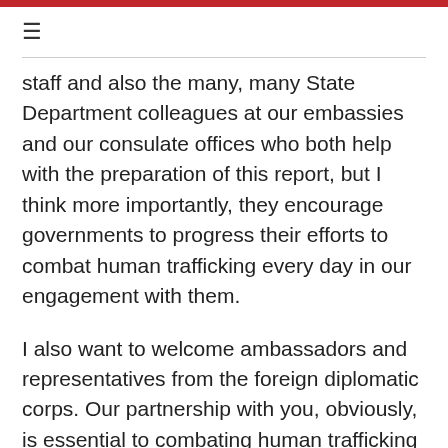≡
staff and also the many, many State Department colleagues at our embassies and our consulate offices who both help with the preparation of this report, but I think more importantly, they encourage governments to progress their efforts to combat human trafficking every day in our engagement with them.
I also want to welcome ambassadors and representatives from the foreign diplomatic corps. Our partnership with you, obviously, is essential to combating human trafficking as well.
And finally, I want to recognize the survivors of human trafficking as well as representatives of the many NGOs and international organizations who are with us today, and